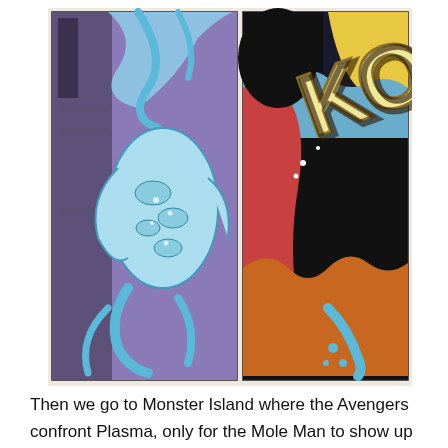[Figure (illustration): Two comic book panels side by side. Left panel shows a blue creature with patterned limbs and tentacles against a purple background with architectural elements. Right panel shows a dark figure in red against a colorful background with a large 'KON' sound effect text in cream/yellow outlined letters.]
Then we go to Monster Island where the Avengers confront Plasma, only for the Mole Man to show up and declare them all as trespassers on his island. Also, look in the...